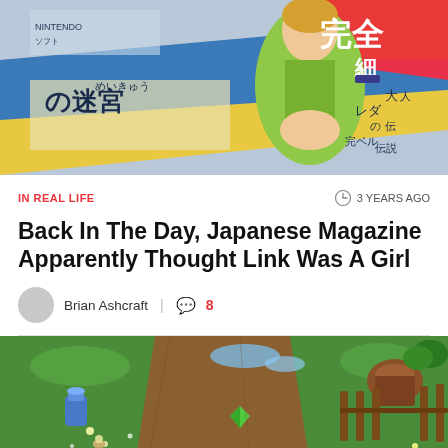[Figure (photo): Japanese magazine cover or page showing a green-clad character (Link from Zelda) depicted as female, with Japanese text including Nintendo branding and kanji/hiragana characters on a colorful background with blue and pink/red elements]
IN REAL LIFE
3 YEARS AGO
Back In The Day, Japanese Magazine Apparently Thought Link Was A Girl
Brian Ashcraft | 8
[Figure (screenshot): Top-down video game screenshot showing a Zelda-style game with green terrain, a dirt path, blue potions/jars on the left side, green gems, brown wooden posts on the right, and foliage elements]